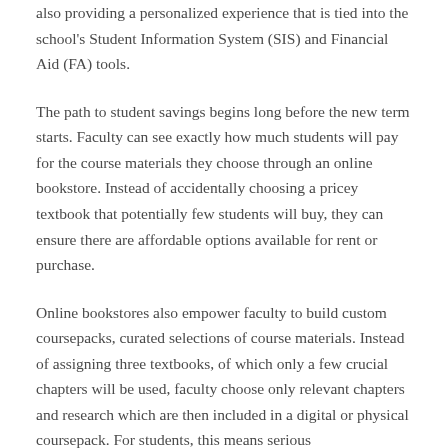also providing a personalized experience that is tied into the school's Student Information System (SIS) and Financial Aid (FA) tools.
The path to student savings begins long before the new term starts. Faculty can see exactly how much students will pay for the course materials they choose through an online bookstore. Instead of accidentally choosing a pricey textbook that potentially few students will buy, they can ensure there are affordable options available for rent or purchase.
Online bookstores also empower faculty to build custom coursepacks, curated selections of course materials. Instead of assigning three textbooks, of which only a few crucial chapters will be used, faculty choose only relevant chapters and research which are then included in a digital or physical coursepack. For students, this means serious